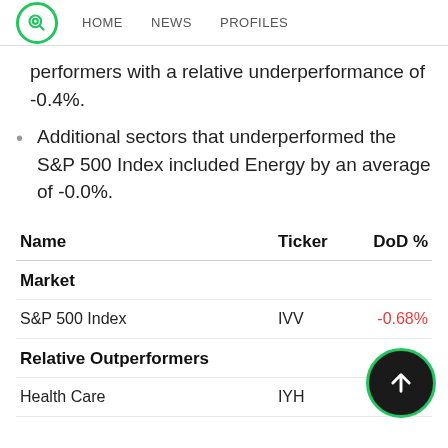HOME | NEWS | PROFILES
performers with a relative underperformance of -0.4%.
Additional sectors that underperformed the S&P 500 Index included Energy by an average of -0.0%.
| Name | Ticker | DoD % |
| --- | --- | --- |
| Market |  |  |
| S&P 500 Index | IVV | -0.68% |
| Relative Outperformers |  |  |
| Health Care | IYH | +1.9% |